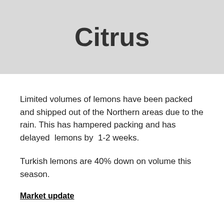Citrus
Limited volumes of lemons have been packed and shipped out of the Northern areas due to the rain. This has hampered packing and has delayed lemons by 1-2 weeks.
Turkish lemons are 40% down on volume this season.
Market update
...